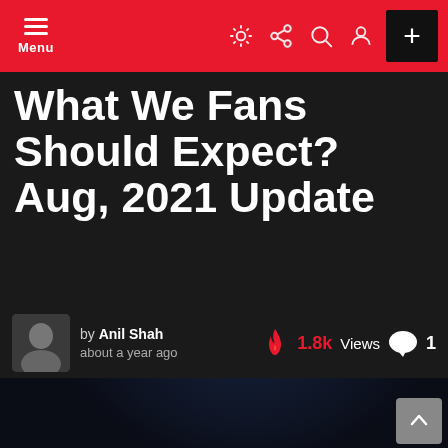Menu
What We Fans Should Expect? Aug, 2021 Update
by Anil Shah about a year ago 1.8k Views 1
[Figure (illustration): Dark background image with a stylized fantasy creature/logo emblem in dark blue tones, a TOC button overlay (red circle with list icon), and a scroll-to-top button in the bottom right corner.]